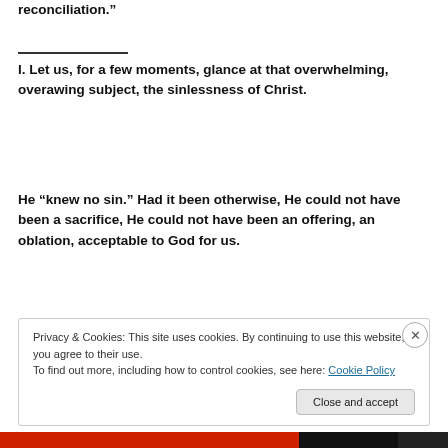reconciliation.”
I. Let us, for a few moments, glance at that overwhelming, overawing subject, the sinlessness of Christ.
He “knew no sin.” Had it been otherwise, He could not have been a sacrifice, He could not have been an offering, an oblation, acceptable to God for us.
Privacy & Cookies: This site uses cookies. By continuing to use this website, you agree to their use.
To find out more, including how to control cookies, see here: Cookie Policy
Close and accept